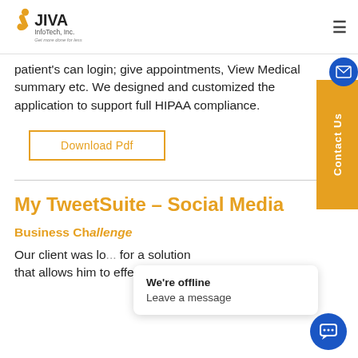JIVA InfoTech, Inc. — Get more done for less
patient's can login; give appointments, View Medical summary etc. We designed and customized the application to support full HIPAA compliance.
Download Pdf
My TweetSuite – Social Media
Business Challenge
Our client was looking for a solution that allows him to effectively manage